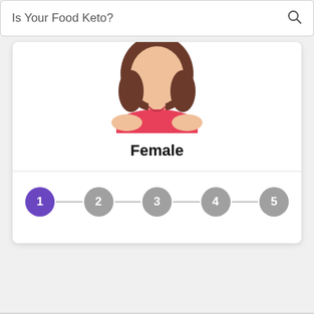Is Your Food Keto?
[Figure (illustration): Partial illustration of a female avatar/character with brown hair and a red/pink top, cropped at the top, shown from torso up inside a circular frame]
Female
[Figure (infographic): A 5-step progress indicator. Step 1 is highlighted in purple, steps 2-5 are in gray, connected by horizontal lines.]